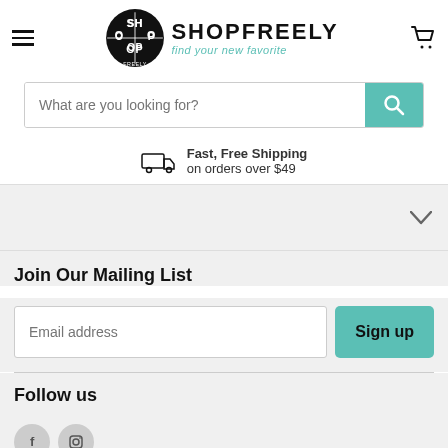SHOPFREELY — find your new favorite
What are you looking for?
Fast, Free Shipping on orders over $49
Join Our Mailing List
Email address
Sign up
Follow us